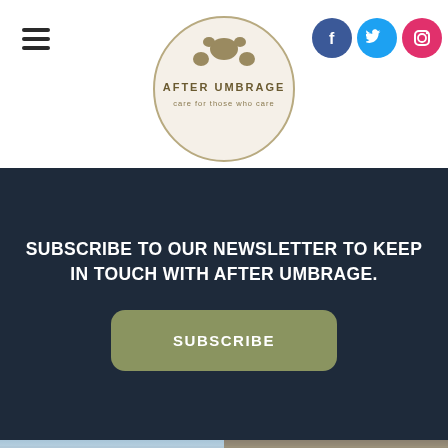[Figure (logo): After Umbrage circular logo with bear paw print and text 'AFTER UMBRAGE care for those who care']
[Figure (other): Social media icons: Facebook (blue), Twitter (blue), Instagram (pink/red)]
SUBSCRIBE TO OUR NEWSLETTER TO KEEP IN TOUCH WITH AFTER UMBRAGE.
[Figure (other): Subscribe button - olive/sage green rounded rectangle with text SUBSCRIBE]
[Figure (photo): Photo of cyclist with number 122 on blue sky background]
[Figure (photo): Photo of person with blue headband outdoors in nature]